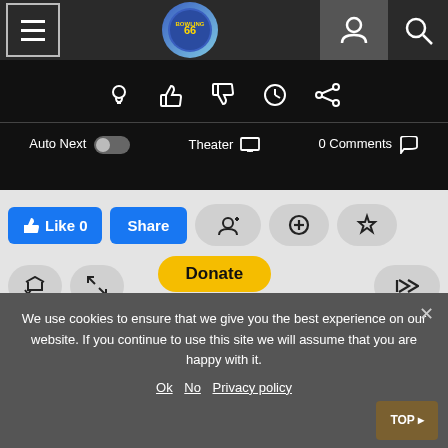[Figure (screenshot): Website navigation bar with hamburger menu, logo, user icon and search icon]
[Figure (screenshot): Video player bottom controls with lightbulb, thumbs up, thumbs down, clock, and share icons, plus Auto Next toggle, Theater mode, and 0 Comments]
[Figure (screenshot): Social interaction buttons: Like 0, Share, follow, add, alert, repost, expand, Donate (with payment card icons), skip-back, skip-forward, download]
We use cookies to ensure that we give you the best experience on our website. If you continue to use this site we will assume that you are happy with it.
Ok  No  Privacy policy